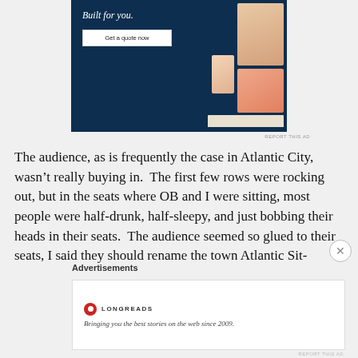[Figure (illustration): Advertisement banner with dark navy background, text 'Built for you.', a 'Get a quote now' button, and fashion/apparel images on the right side showing clothing and people.]
REPORT THIS AD
The audience, as is frequently the case in Atlantic City, wasn't really buying in.  The first few rows were rocking out, but in the seats where OB and I were sitting, most people were half-drunk, half-sleepy, and just bobbing their heads in their seats.  The audience seemed so glued to their seats, I said they should rename the town Atlantic Sit-
Advertisements
[Figure (logo): Longreads advertisement with red circular logo and text 'Bringing you the best stories on the web since 2009.']
REPORT THIS AD